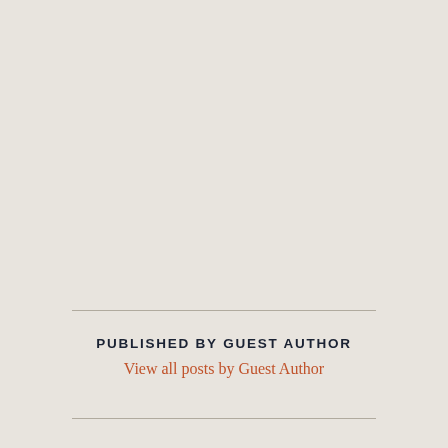approach?
6 July, 2022
In "General"
Obesity and covid-19: the unseen risks
16 July, 2020
In "General"
Diabetes UK COVID-19 Resources
30 June, 2020
In "General"
PUBLISHED BY GUEST AUTHOR
View all posts by Guest Author